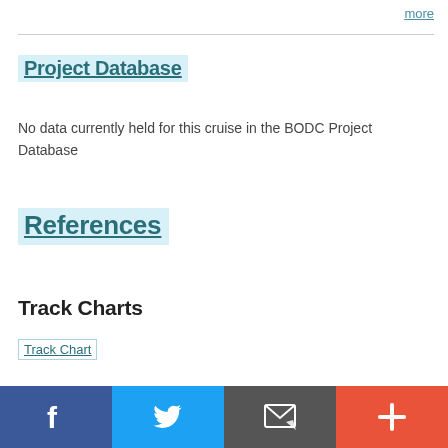more
Project Database
No data currently held for this cruise in the BODC Project Database
References
Track Charts
Track Chart
Reports
Facebook | Twitter | Email | +